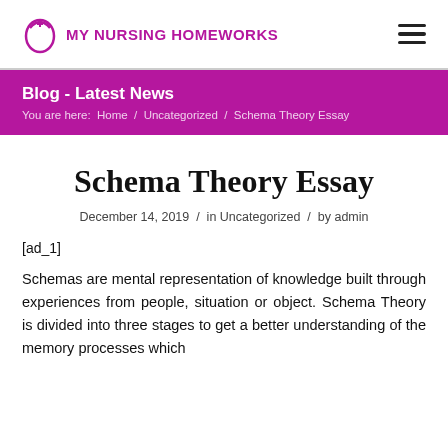MY NURSING HOMEWORKS
Blog - Latest News
You are here: Home / Uncategorized / Schema Theory Essay
Schema Theory Essay
December 14, 2019 / in Uncategorized / by admin
[ad_1]
Schemas are mental representation of knowledge built through experiences from people, situation or object. Schema Theory is divided into three stages to get a better understanding of the memory processes which